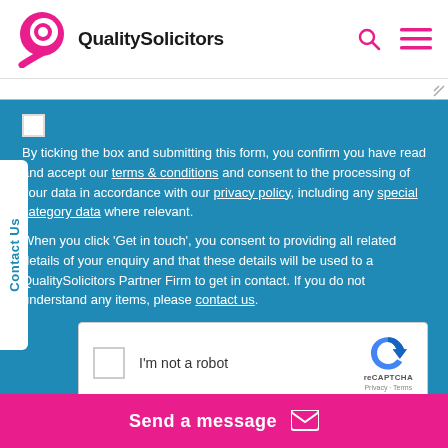[Figure (logo): QualitySolicitors logo with pink Q icon and bold text]
By ticking the box and submitting this form, you confirm you have read and accept our terms & conditions and consent to the processing of your data in accordance with our privacy policy, including any special category data where relevant.
When you click ‘Get in touch’, you consent to providing all related details of your enquiry and that these details will be used to a QualitySolicitors Partner Firm to get in contact. If you do not understand any items, please contact us.
[Figure (screenshot): reCAPTCHA widget with checkbox, I'm not a robot label, and reCAPTCHA branding]
Send a message